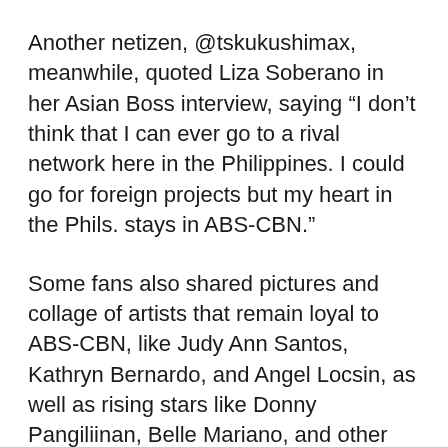Another netizen, @tskukushimax, meanwhile, quoted Liza Soberano in her Asian Boss interview, saying “I don’t think that I can ever go to a rival network here in the Philippines. I could go for foreign projects but my heart in the Phils. stays in ABS-CBN.”
Some fans also shared pictures and collage of artists that remain loyal to ABS-CBN, like Judy Ann Santos, Kathryn Bernardo, and Angel Locsin, as well as rising stars like Donny Pangiliinan, Belle Mariano, and other fresh talents who are being groomed for stardom by ABS-CBN’s Star Magic, the largest and most successful talent management agency in the country.